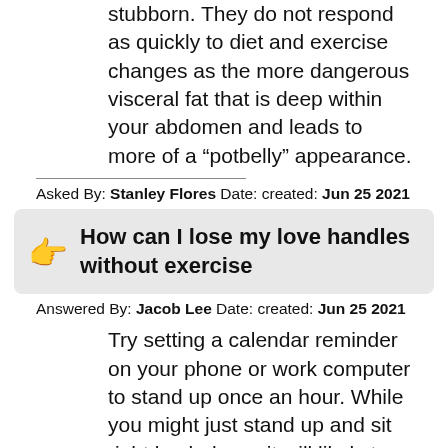stubborn. They do not respond as quickly to diet and exercise changes as the more dangerous visceral fat that is deep within your abdomen and leads to more of a “potbelly” appearance.
Asked By: Stanley Flores Date: created: Jun 25 2021
How can I lose my love handles without exercise
Answered By: Jacob Lee Date: created: Jun 25 2021
Try setting a calendar reminder on your phone or work computer to stand up once an hour. While you might just stand up and sit right back down, it will likely turn into a quick stretch or a quick walk to refill your water. Sometimes the